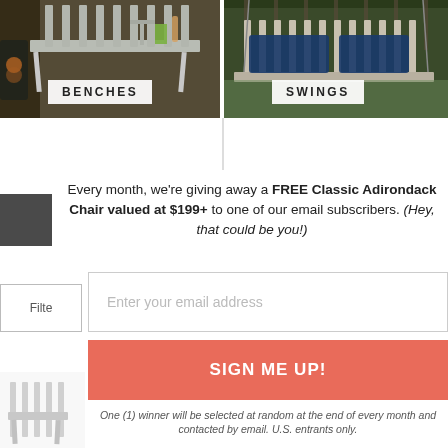[Figure (photo): Photo of a white outdoor bench with items on it, labeled BENCHES]
[Figure (photo): Photo of a wooden porch swing with blue cushions, labeled SWINGS]
Every month, we're giving away a FREE Classic Adirondack Chair valued at $199+ to one of our email subscribers. (Hey, that could be you!)
[Figure (other): Email input field with placeholder: Enter your email address]
[Figure (other): SIGN ME UP! button in coral/salmon color]
One (1) winner will be selected at random at the end of every month and contacted by email. U.S. entrants only.
[Figure (photo): Partial product image of a white bench/chair in the bottom left corner]